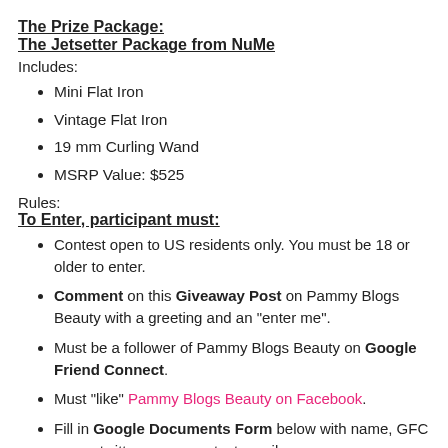The Prize Package:
The Jetsetter Package from NuMe
Includes:
Mini Flat Iron
Vintage Flat Iron
19 mm Curling Wand
MSRP Value: $525
Rules:
To Enter, participant must:
Contest open to US residents only. You must be 18 or older to enter.
Comment on this Giveaway Post on Pammy Blogs Beauty with a greeting and an "enter me".
Must be a follower of Pammy Blogs Beauty on Google Friend Connect.
Must "like" Pammy Blogs Beauty on Facebook.
Fill in Google Documents Form below with name, GFC name, twitter name, contact email